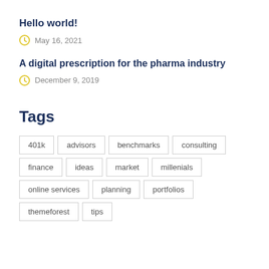Hello world!
May 16, 2021
A digital prescription for the pharma industry
December 9, 2019
Tags
401k
advisors
benchmarks
consulting
finance
ideas
market
millenials
online services
planning
portfolios
themeforest
tips